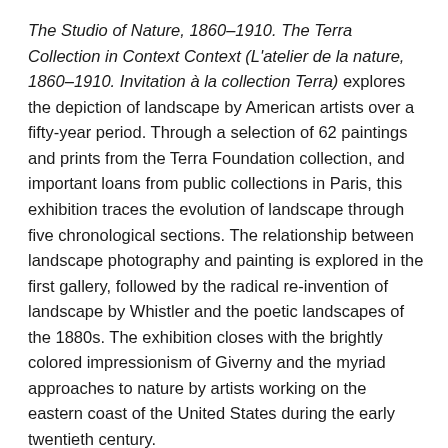The Studio of Nature, 1860–1910. The Terra Collection in Context Context (L'atelier de la nature, 1860–1910. Invitation à la collection Terra) explores the depiction of landscape by American artists over a fifty-year period. Through a selection of 62 paintings and prints from the Terra Foundation collection, and important loans from public collections in Paris, this exhibition traces the evolution of landscape through five chronological sections. The relationship between landscape photography and painting is explored in the first gallery, followed by the radical re-invention of landscape by Whistler and the poetic landscapes of the 1880s. The exhibition closes with the brightly colored impressionism of Giverny and the myriad approaches to nature by artists working on the eastern coast of the United States during the early twentieth century.